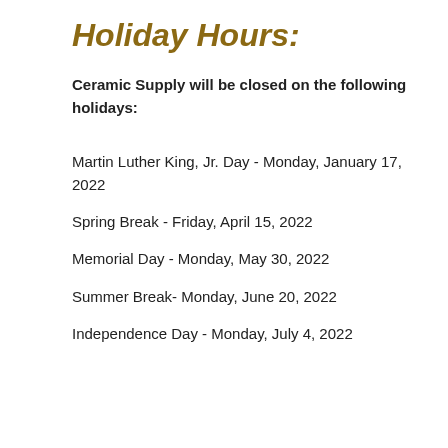Holiday Hours:
Ceramic Supply will be closed on the following holidays:
Martin Luther King, Jr. Day - Monday, January 17, 2022
Spring Break - Friday, April 15, 2022
Memorial Day - Monday, May 30, 2022
Summer Break- Monday, June 20, 2022
Independence Day - Monday, July 4, 2022